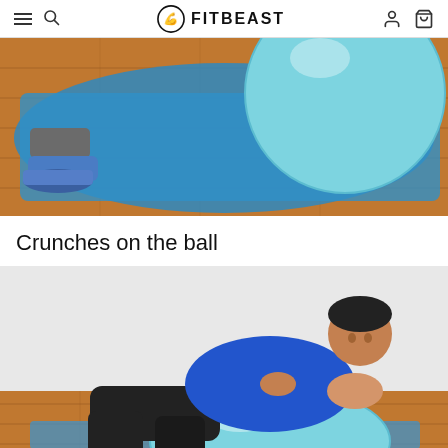FITBEAST
[Figure (photo): A person on a blue exercise mat with a large light blue stability ball. Partial view showing legs/shoes and the ball on a wooden floor.]
Crunches on the ball
[Figure (photo): A man wearing a blue sleeveless shirt and black shorts performing crunches on a light blue stability ball on a wooden floor with a blue exercise mat.]